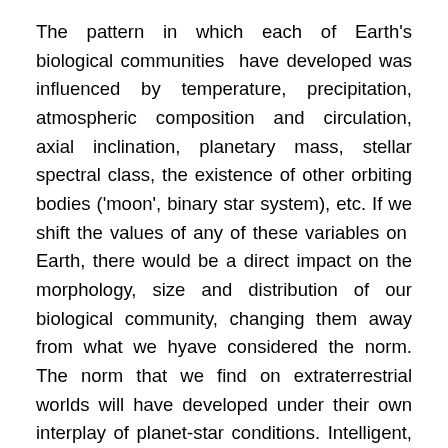The pattern in which each of Earth's biological communities have developed was influenced by temperature, precipitation, atmospheric composition and circulation, axial inclination, planetary mass, stellar spectral class, the existence of other orbiting bodies ('moon', binary star system), etc. If we shift the values of any of these variables on Earth, there would be a direct impact on the morphology, size and distribution of our biological community, changing them away from what we hyave considered the norm. The norm that we find on extraterrestrial worlds will have developed under their own interplay of planet-star conditions. Intelligent, tool using creatures may seem quite different from what we're accoustomed to at first glance, but only because they developed from their own unique mix of conditions. They